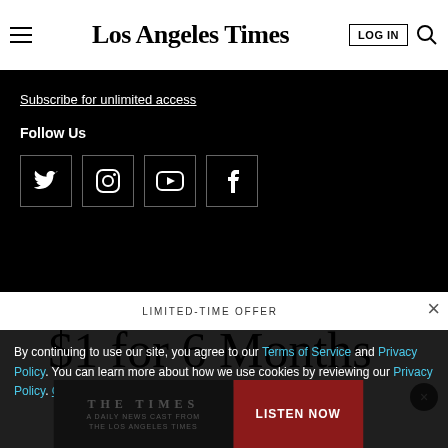Los Angeles Times — header with hamburger menu, LOG IN button, and search icon
Subscribe for unlimited access
Follow Us
[Figure (infographic): Four social media icons in outlined square boxes: Twitter (bird), Instagram (camera), YouTube (play button), Facebook (f) — white icons on black background]
LIMITED-TIME OFFER
$1 for 6 Months
SUBSCRIBE NOW
By continuing to use our site, you agree to our Terms of Service and Privacy Policy. You can learn more about how we use cookies by reviewing our Privacy Policy. Close